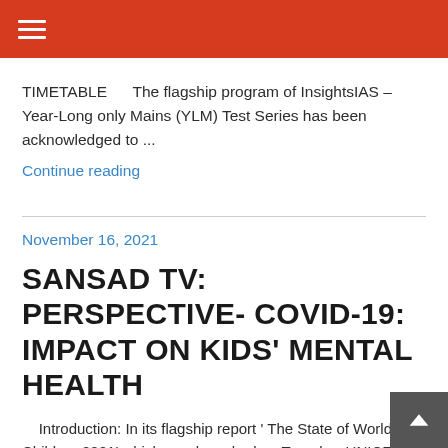TIMETABLE     The flagship program of InsightsIAS – Year-Long only Mains (YLM) Test Series has been acknowledged to ...
Continue reading
November 16, 2021
SANSAD TV: PERSPECTIVE- COVID-19: IMPACT ON KIDS' MENTAL HEALTH
Introduction: In its flagship report ' The State of World's Children 2021' which was launched on Tuesday, UNICEF has announced that children and ...